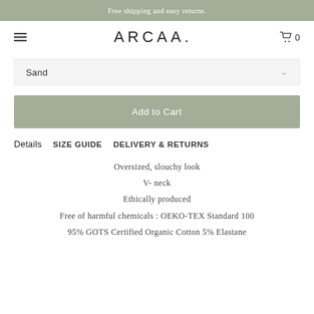Free shipping and easy returns.
ARCAA.
Sand
Add to Cart
Details  SIZE GUIDE  DELIVERY & RETURNS
Oversized, slouchy look
V- neck
Ethically produced
Free of harmful chemicals : OEKO-TEX Standard 100
95% GOTS Certified Organic Cotton 5% Elastane